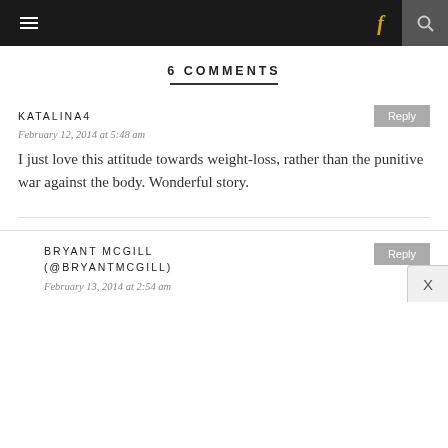≡  f  🔍
6 COMMENTS
KATALINA4
February 12, 2014 at 5:48 am
I just love this attitude towards weight-loss, rather than the punitive war against the body. Wonderful story.
BRYANT MCGILL (@BRYANTMCGILL)
February 13, 2014 at 2:54 am